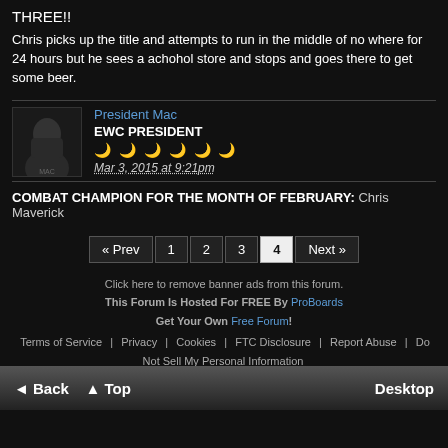THREE!!
Chris picks up the title and attempts to run in the middle of no where for 24 hours but he sees a achohol store and stops and goes there to get some beer.
President Mac
EWC PRESIDENT
Mar 3, 2015 at 9:21pm
COMBAT CHAMPION FOR THE MONTH OF FEBRUARY: Chris Maverick
« Prev 1 2 3 4 Next »
Click here to remove banner ads from this forum.
This Forum Is Hosted For FREE By ProBoards
Get Your Own Free Forum!
Terms of Service | Privacy | Cookies | FTC Disclosure | Report Abuse | Do Not Sell My Personal Information
◄ Back ▲ Top Desktop